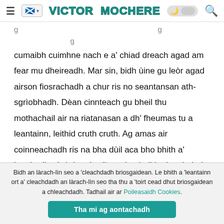VICTOR MOCHERE
cumaibh cuimhne nach e a' chiad dreach agad am fear mu dheireadh. Mar sin, bidh ùine gu leòr agad airson fiosrachadh a chur ris no seantansan ath-sgrìobhadh. Dèan cinnteach gu bheil thu mothachail air na riatanasan a dh' fheumas tu a leantainn, leithid cruth cruth. Ag amas air coinneachadh ris na bha dùil aca bho bhith a' leughadh tràchdas tùsail, cruthachail le deagh thaic.
Bidh an làrach-lìn seo a 'cleachdadh briosgaidean. Le bhith a 'leantainn ort a' cleachdadh an làrach-lìn seo tha thu a 'toirt cead dhut briosgaidean a chleachdadh. Tadhail air ar Poileasaidh Cookies. Tha mi ag aontachadh